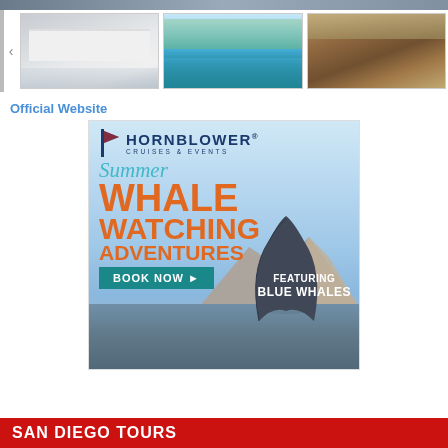[Figure (photo): Top dark strip image of hotel/beach scene]
[Figure (photo): Three hotel thumbnail photos: bedroom, pool, lounge area]
Official Website
[Figure (infographic): Hornblower Cruises & Events advertisement for Summer Whale Watching Adventures featuring Blue Whales, with Book Now button]
SAN DIEGO TOURS